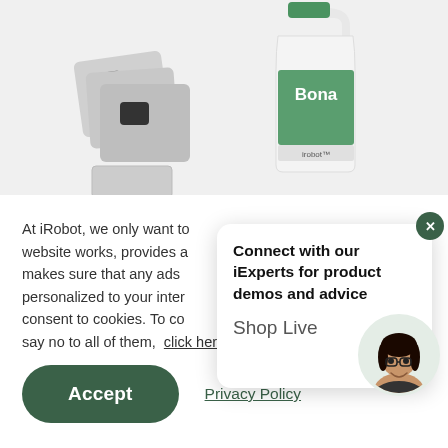[Figure (photo): iRobot vacuum cleaner filter bags (gray) and a Bona cleaning solution large bottle on a light gray background]
At iRobot, we only want to website works, provides a makes sure that any ads personalized to your inter consent to cookies. To co say no to all of them, click here.
[Figure (screenshot): Chat popup with text: Connect with our iExperts for product demos and advice. Shop Live. Close (X) button. Avatar of a smiling woman with glasses.]
Accept
Privacy Policy